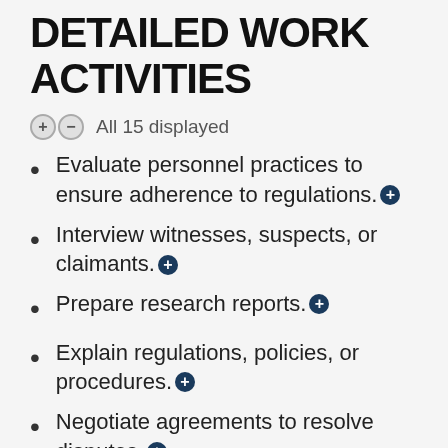DETAILED WORK ACTIVITIES
All 15 displayed
Evaluate personnel practices to ensure adherence to regulations.
Interview witnesses, suspects, or claimants.
Prepare research reports.
Explain regulations, policies, or procedures.
Negotiate agreements to resolve disputes.
Establish organizational guidelines or policies.